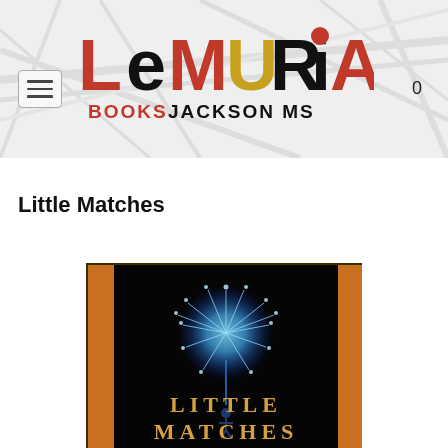[Figure (logo): Lemuria Books Jackson MS logo with decorative geometric letters in red, black, gold on a light gray background with subtle line art]
Little Matches
[Figure (photo): Book cover of Little Matches: black background with glowing blue dandelion, orange side borders, gold text reading LITTLE MATCHES at the bottom]